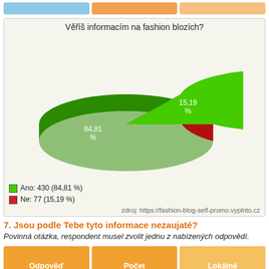[Figure (pie-chart): Věříš informacím na fashion blozích?]
Ano: 430 (84,81 %)
Ne: 77 (15,19 %)
zdroj: https://fashion-blog-self-promo.vyplnto.cz
7. Jsou podle Tebe tyto informace nezaujaté?
Povinná otázka, respondent musel zvolit jednu z nabízených odpovědí.
| Odpověď | Počet | Lokálně |
| --- | --- | --- |